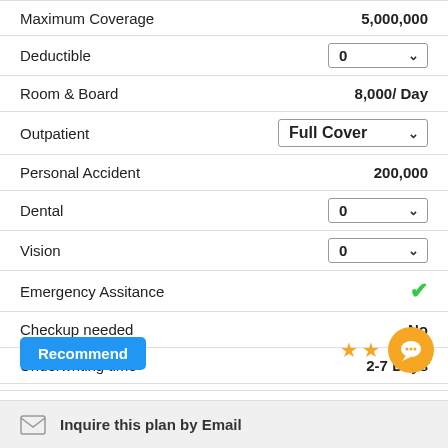| Feature | Value |
| --- | --- |
| Maximum Coverage | 5,000,000 |
| Deductible | 0 (dropdown) |
| Room & Board | 8,000/ Day |
| Outpatient | Full Cover (dropdown) |
| Personal Accident | 200,000 |
| Dental | 0 (dropdown) |
| Vision | 0 (dropdown) |
| Emergency Assitance | ✓ |
| Checkup needed | No |
| Underwriting time | 2-7 Days |
Recommend
[Figure (other): Two gold stars and an orange chat bubble button icon]
Inquire this plan by Email